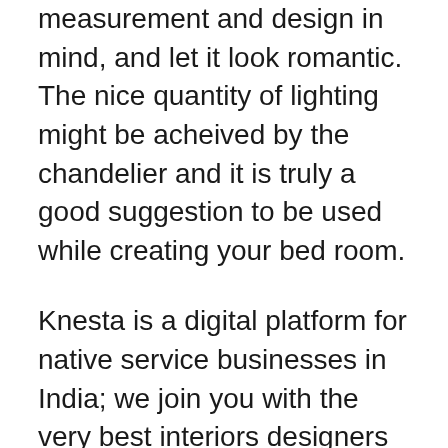measurement and design in mind, and let it look romantic. The nice quantity of lighting might be acheived by the chandelier and it is truly a good suggestion to be used while creating your bed room.
Knesta is a digital platform for native service businesses in India; we join you with the very best interiors designers in Jalandhar. Find Best skilled interior decorators in Jalandhar on your Residential and Business needs. Knesta consultants are prepared to offer spectacular residential interiors with artistic designs that swimsuit your private